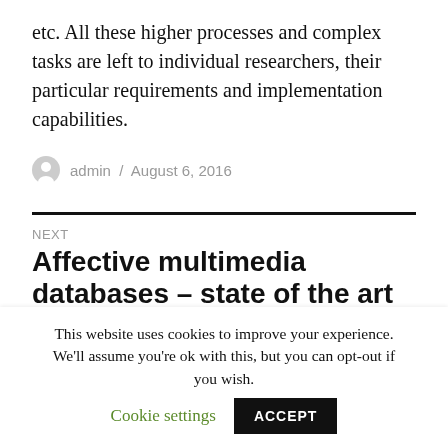etc. All these higher processes and complex tasks are left to individual researchers, their particular requirements and implementation capabilities.
admin / August 6, 2016
NEXT
Affective multimedia databases – state of the art (1)
This website uses cookies to improve your experience. We'll assume you're ok with this, but you can opt-out if you wish.  Cookie settings  ACCEPT